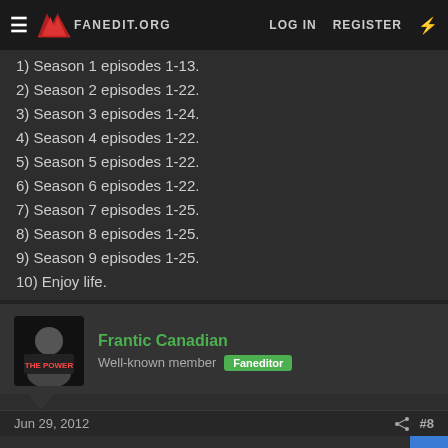FANEDIT.ORG | LOG IN | REGISTER
1) Season 1 episodes 1-13.
2) Season 2 episodes 1-22.
3) Season 3 episodes 1-24.
4) Season 4 episodes 1-22.
5) Season 5 episodes 1-22.
6) Season 6 episodes 1-22.
7) Season 7 episodes 1-25.
8) Season 8 episodes 1-25.
9) Season 9 episodes 1-25.
10) Enjoy life.
Frantic Canadian
Well-known member  Faneditor
Jun 29, 2012  #8
"Home Vs. The Eighteenth Amendment", aka the Beer Baron episode, is my favorite Simpsons episode ever.
http://en.wikipedia.org/wiki/Homer_vs._the_Eighteenth_Amendment